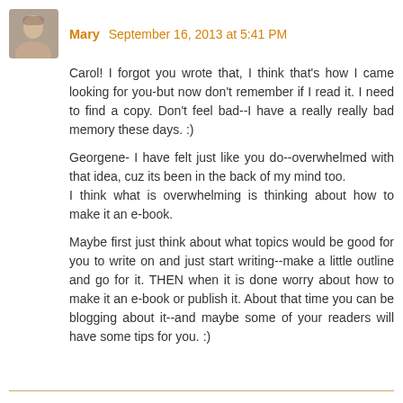[Figure (photo): Small avatar photo of a person]
Mary September 16, 2013 at 5:41 PM
Carol! I forgot you wrote that, I think that's how I came looking for you-but now don't remember if I read it. I need to find a copy. Don't feel bad--I have a really really bad memory these days. :)
Georgene- I have felt just like you do--overwhelmed with that idea, cuz its been in the back of my mind too.
I think what is overwhelming is thinking about how to make it an e-book.
Maybe first just think about what topics would be good for you to write on and just start writing--make a little outline and go for it. THEN when it is done worry about how to make it an e-book or publish it. About that time you can be blogging about it--and maybe some of your readers will have some tips for you. :)